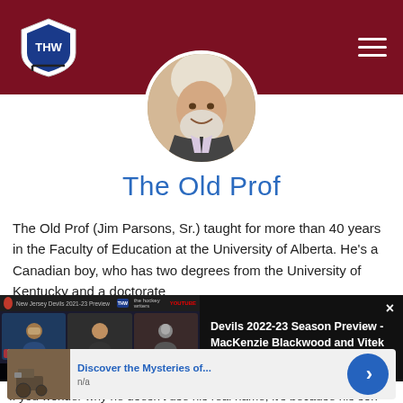THW - The Hockey Writers
[Figure (photo): Circular profile photo of The Old Prof (Jim Parsons, Sr.) - older man with white hair and beard, smiling, wearing a suit]
The Old Prof
The Old Prof (Jim Parsons, Sr.) taught for more than 40 years in the Faculty of Education at the University of Alberta. He's a Canadian boy, who has two degrees from the University of Kentucky and a doctorate
[Figure (screenshot): Video overlay showing Devils 2022-23 Season Preview with MacKenzie Blackwood and Vitek Vanecek. Shows video conference with multiple participants.]
Devils 2022-23 Season Preview - MacKenzie Blackwood and Vitek Vanecek
If you wonder why he doesn't use his real name, it's because his son
Discover the Mysteries of...
n/a